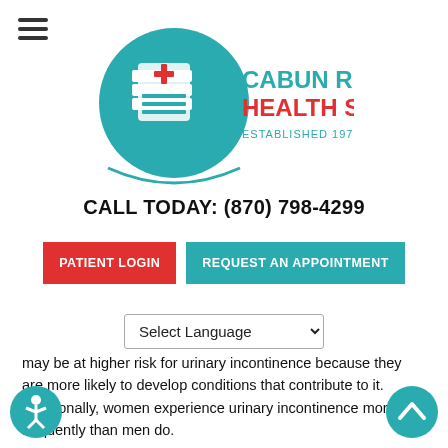[Figure (logo): Cabun Rural Health Services logo with teal circle, red cross, and text 'CABUN RURAL HEALTH SERVICES ESTABLISHED 1978']
CALL TODAY: (870) 798-4299
PATIENT LOGIN
REQUEST AN APPOINTMENT
Select Language
may be at higher risk for urinary incontinence because they are more likely to develop conditions that contribute to it.  Additionally, women experience urinary incontinence more frequently than men do.
factors for urinary incontinence:
Diabetes
Inflamed vaginal tissues in women